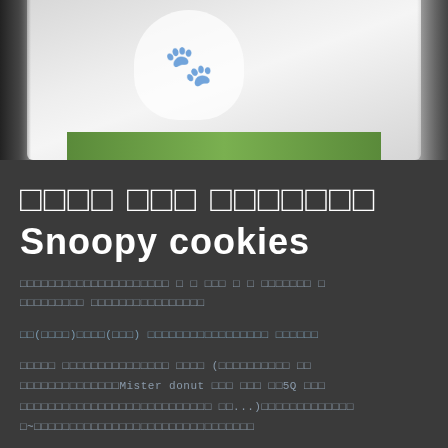[Figure (photo): Photo of person wearing Snoopy-themed clothing/sweater with Snoopy character graphics and green trim, against a dark background]
□□□□ □□□ □□□□□□□
Snoopy cookies
□□□□□□□□□□□□□□□□□□□□□ □ □ □□□ □ □ □□□□□□□ □
□□□□□□□□□ □□□□□□□□□□□□□□□□
□□(□□□□)□□□□(□□□) □□□□□□□□□□□□□□□□□ □□□□□□
□□□□□ □□□□□□□□□□□□□□□ □□□□ (□□□□□□□□□□ □□
□□□□□□□□□□□□□□Mister donut □□□ □□□ □□5Q □□□
□□□□□□□□□□□□□□□□□□□□□□□□□□□ □□...)□□□□□□□□□□□□□
□~□□□□□□□□□□□□□□□□□□□□□□□□□□□□□□□